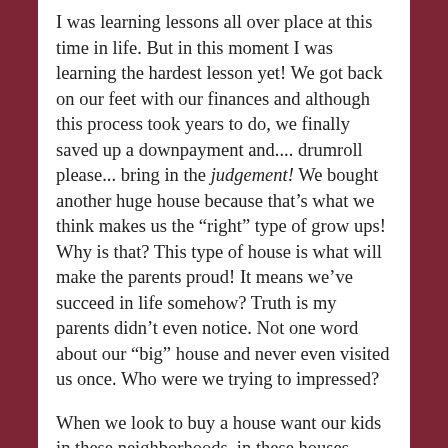I was learning lessons all over place at this time in life. But in this moment I was learning the hardest lesson yet! We got back on our feet with our finances and although this process took years to do, we finally saved up a downpayment and.... drumroll please... bring in the judgement! We bought another huge house because that's what we think makes us the “right” type of grow ups! Why is that? This type of house is what will make the parents proud! It means we’ve succeed in life somehow? Truth is my parents didn’t even notice. Not one word about our “big” house and never even visited us once. Who were we trying to impressed?
When we look to buy a house want our kids in these neighborhoods, in these houses, having these nice computers, these phones, toys, and